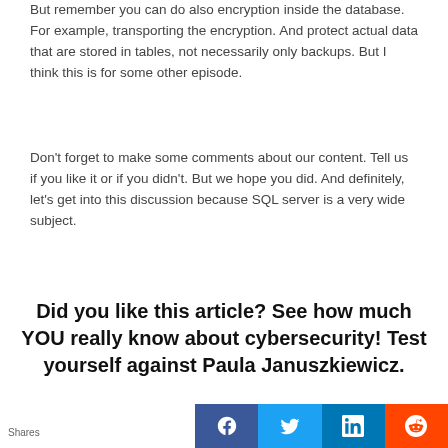But remember you can do also encryption inside the database. For example, transporting the encryption. And protect actual data that are stored in tables, not necessarily only backups. But I think this is for some other episode.
Don’t forget to make some comments about our content. Tell us if you like it or if you didn’t. But we hope you did. And definitely, let’s get into this discussion because SQL server is a very wide subject.
Did you like this article? See how much YOU really know about cybersecurity! Test yourself against Paula Januszkiewicz.
[Figure (infographic): Social sharing bar with Shares label and four colored buttons: Facebook (dark blue), Twitter (light blue), LinkedIn (blue), Reddit (orange-red), each with respective icons.]